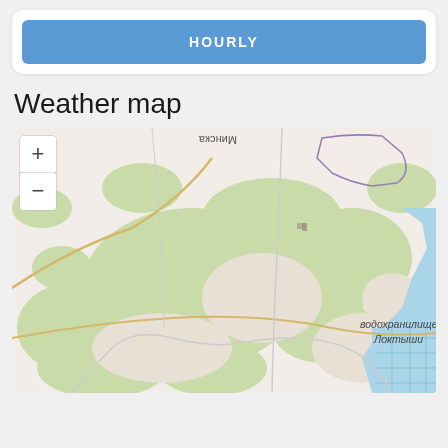HOURLY
Weather map
[Figure (map): OpenStreetMap-style weather map showing a region near Minsk, Belarus. The map displays terrain with green forested areas, roads, a reservoir labeled 'водохранилище Локтыши' in the right portion, and map zoom controls (+/-) in the upper left corner.]